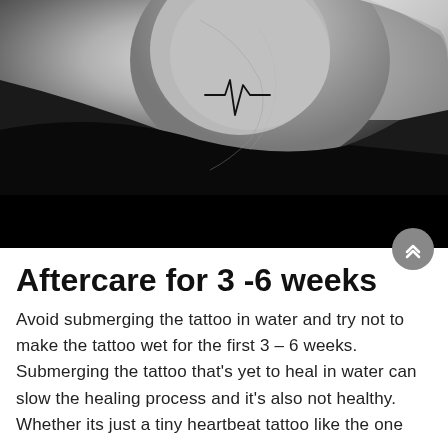[Figure (photo): Black and white photo of a person's neck/shoulder area showing a small heartbeat (EKG) line tattoo on the neck. The person is wearing a dark/black shirt. The lower portion of the image is a solid black band.]
Aftercare for 3 -6 weeks
Avoid submerging the tattoo in water and try not to make the tattoo wet for the first 3 – 6 weeks. Submerging the tattoo that's yet to heal in water can slow the healing process and it's also not healthy. Whether its just a tiny heartbeat tattoo like the one